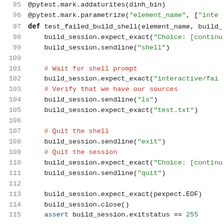[Figure (screenshot): Python source code snippet showing lines 95-115 of a pytest test file. Code includes pytest parametrize decorator, test function definition, build_session method calls (expect_exact, sendline), comments, and assertions. Syntax highlighted with green strings, red comments, and dark text for keywords.]